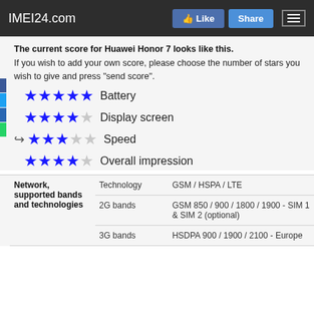IMEI24.com  Like  Share
The current score for Huawei Honor 7 looks like this. If you wish to add your own score, please choose the number of stars you wish to give and press "send score".
★★★★★ Battery (5 stars)
★★★★☆ Display screen (4.5 stars)
★★★☆☆ Speed (3 stars)
★★★★☆ Overall impression (4.5 stars)
| Category | Property | Value |
| --- | --- | --- |
| Network, supported bands and technologies | Technology | GSM / HSPA / LTE |
|  | 2G bands | GSM 850 / 900 / 1800 / 1900 - SIM 1 & SIM 2 (optional) |
|  | 3G bands | HSDPA 900 / 1900 / 2100 - Europe |